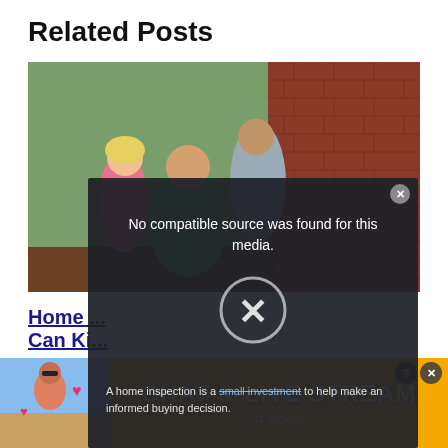Related Posts
[Figure (photo): Two men and a woman examining the exterior brick wall of a house, possibly a home inspection scene. One man in a green shirt is crouching down, another in a grey shirt stands against the wall, and a woman in a pink shirt watches.]
[Figure (screenshot): Video overlay on a dark background showing a house exterior. Text reads: 'No compatible source was found for this media.' with a large X mark in a circle. Caption below: 'A home inspection is a small investment to help make an informed buying decision.']
Home ... Can Ki...
[Figure (photo): Advertisement banner: 'CHAT & LIVE STREAM' by clover, with a photo of a woman at a beach on the left and pink heart emojis.]